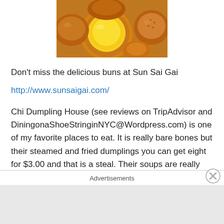[Figure (photo): Close-up photo of buns and pastries including an egg custard tart with a golden yellow filling, surrounded by golden-brown baked buns]
Don't miss the delicious buns at Sun Sai Gai
http://www.sunsaigai.com/
Chi Dumpling House (see reviews on TripAdvisor and DiningonaShoeStringinNYC@Wordpress.com) is one of my favorite places to eat. It is really bare bones but their steamed and fried dumplings you can get eight for $3.00 and that is a steal. Their soups are really good on a cold day especially their hot and sour soup. Their noodle dishes are wonderful and the portion sizes are rather
Advertisements